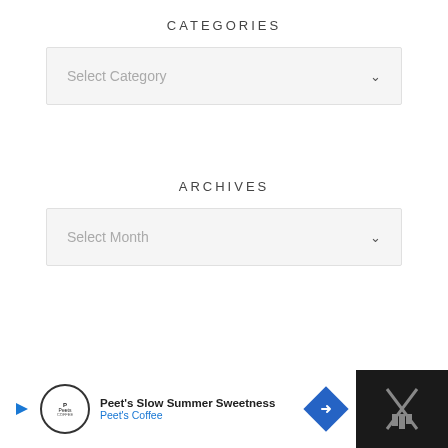CATEGORIES
Select Category
ARCHIVES
Select Month
[Figure (screenshot): Advertisement banner at bottom showing Peet's Coffee ad with text 'Peet's Slow Summer Sweetness' and 'Peet's Coffee', a navigation icon, and a dark right panel with crossed items graphic]